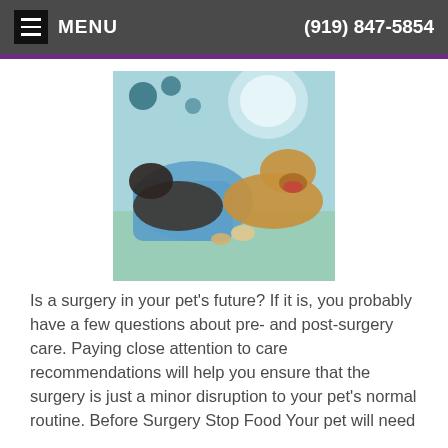MENU  (919) 847-5854
[Figure (photo): Two dogs lying on a surgical table, one wearing a blue surgical gown, in a veterinary operating room setting with overhead lights]
Is a surgery in your pet's future? If it is, you probably have a few questions about pre- and post-surgery care. Paying close attention to care recommendations will help you ensure that the surgery is just a minor disruption to your pet's normal routine. Before Surgery Stop Food Your pet will need
Read more
What is an Emergency?